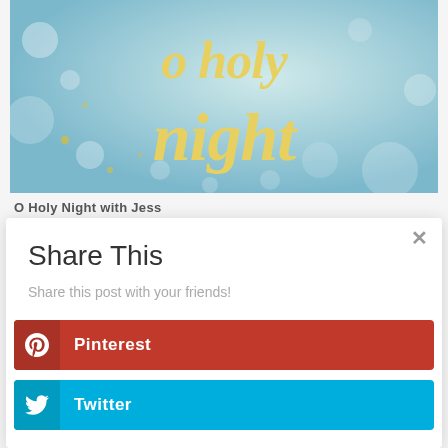[Figure (photo): Decorative image with blue-green bokeh background and gold cursive text reading 'o holy night']
O Holy Night with Jess
Share This
Share this post with your friends!
Pinterest
Twitter